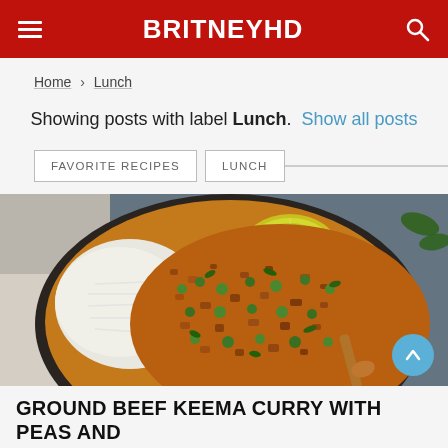BRITNEYHD
Home › Lunch
Showing posts with label Lunch. Show all posts
FAVORITE RECIPES
LUNCH
[Figure (photo): Bowl of ground beef keema curry with peas and rice, garnished with lime and cilantro, on a dark background.]
GROUND BEEF KEEMA CURRY WITH PEAS AND